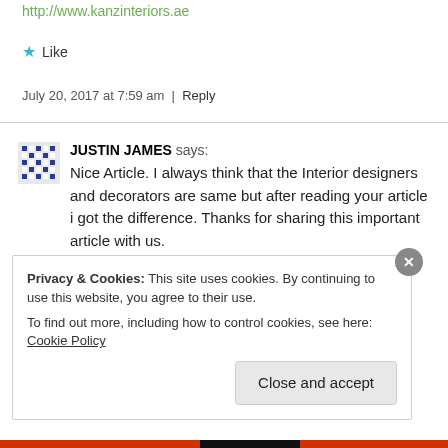http://www.kanzinteriors.ae
★ Like
July 20, 2017 at 7:59 am | Reply
JUSTIN JAMES says: Nice Article. I always think that the Interior designers and decorators are same but after reading your article i got the difference. Thanks for sharing this important article with us.
Privacy & Cookies: This site uses cookies. By continuing to use this website, you agree to their use. To find out more, including how to control cookies, see here: Cookie Policy
Close and accept